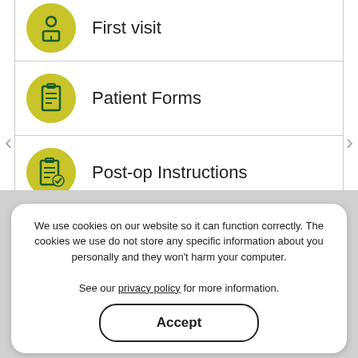First visit
Patient Forms
Post-op Instructions
Insurance Info
We use cookies on our website so it can function correctly. The cookies we use do not store any specific information about you personally and they won't harm your computer. See our privacy policy for more information.
Accept